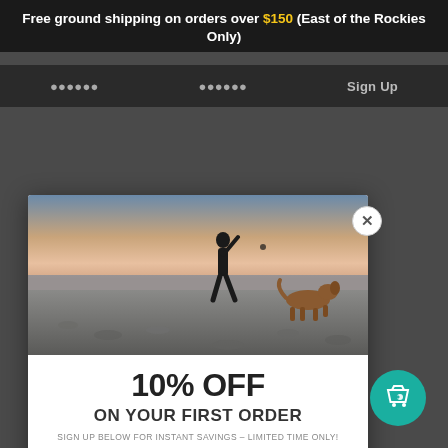Free ground shipping on orders over $150 (East of the Rockies Only)
Sign Up
[Figure (photo): Person and dog on a pebbly beach at dusk/sunset with pink and blue sky]
10% OFF
ON YOUR FIRST ORDER
SIGN UP BELOW FOR INSTANT SAVINGS - LIMITED TIME ONLY!
Enter Email
View my code